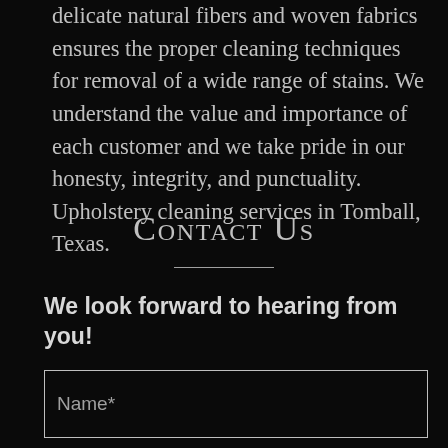delicate natural fibers and woven fabrics ensures the proper cleaning techniques for removal of a wide range of stains. We understand the value and importance of each customer and we take pride in our honesty, integrity, and punctuality. Upholstery cleaning services in Tomball, Texas.
Contact Us
We look forward to hearing from you!
Name*